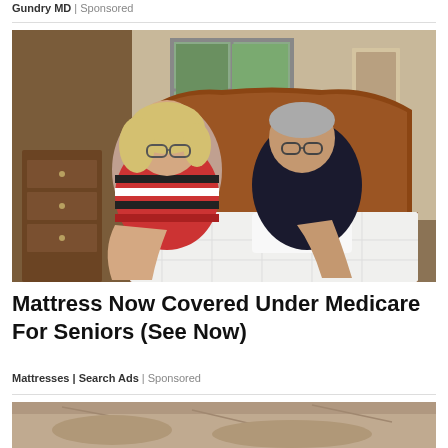Gundry MD | Sponsored
[Figure (photo): Two elderly people leaning over a white mattress on a bed with a wooden headboard in a bedroom setting. A woman with glasses and striped sweater on the left, a man in dark polo shirt on the right.]
Mattress Now Covered Under Medicare For Seniors (See Now)
Mattresses | Search Ads | Sponsored
[Figure (photo): Partial bottom image, cropped — appears to show a textured surface, partially visible at the bottom of the page.]